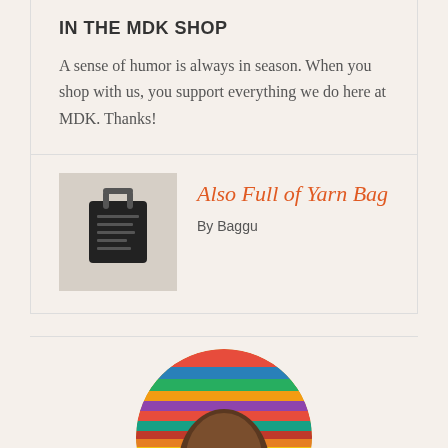IN THE MDK SHOP
A sense of humor is always in season. When you shop with us, you support everything we do here at MDK. Thanks!
[Figure (photo): Product photo of a black tote/crossbody bag, the Also Full of Yarn Bag by Baggu]
Also Full of Yarn Bag
By Baggu
[Figure (photo): Circular cropped portrait photo of a smiling woman wearing a colorful striped knitted hat with rainbow stripes]